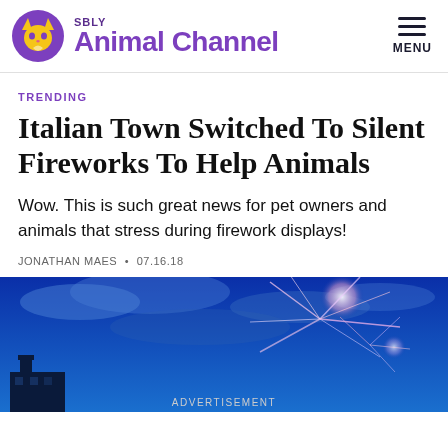SBLY Animal Channel
TRENDING
Italian Town Switched To Silent Fireworks To Help Animals
Wow. This is such great news for pet owners and animals that stress during firework displays!
JONATHAN MAES • 07.16.18
[Figure (photo): Night sky with fireworks bursting in blue sky, with a building silhouette in the lower left corner. Text: ADVERTISEMENT at the bottom.]